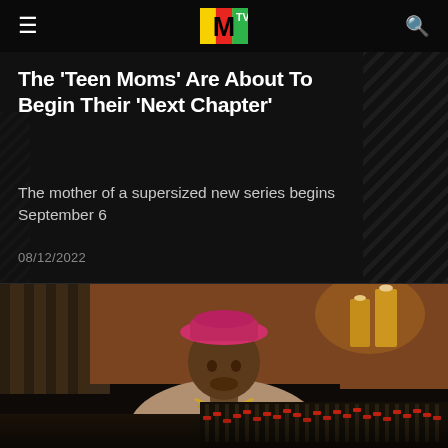MTV
The 'Teen Moms' Are About To Begin Their 'Next Chapter'
The mother of a supersized new series begins September 6
08/12/2022
[Figure (photo): A man wearing a pink bucket hat and a beige graphic sweatshirt with gold chain necklaces, seated in front of a mixing board in a recording studio setting with warm-lit candles in the background.]